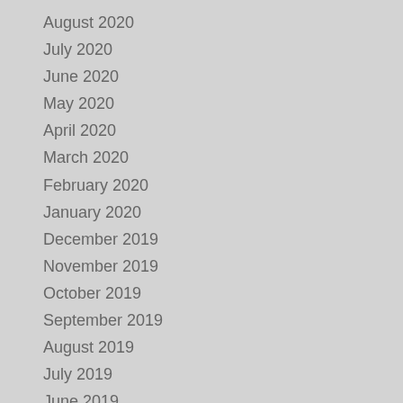August 2020
July 2020
June 2020
May 2020
April 2020
March 2020
February 2020
January 2020
December 2019
November 2019
October 2019
September 2019
August 2019
July 2019
June 2019
May 2019
April 2019
March 2019
February 2019
January 2019
December 2018